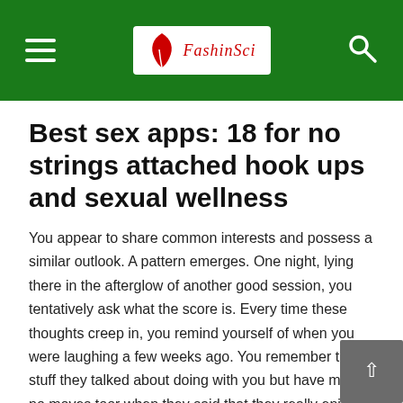FashionSci [logo with hamburger menu and search icon]
Best sex apps: 18 for no strings attached hook ups and sexual wellness
You appear to share common interests and possess a similar outlook. A pattern emerges. One night, lying there in the afterglow of another good session, you tentatively ask what the score is. Every time these thoughts creep in, you remind yourself of when you were laughing a few weeks ago. You remember the stuff they talked about doing with you but have made no moves toor when they said that they really enjoy your company. After posing the question, the